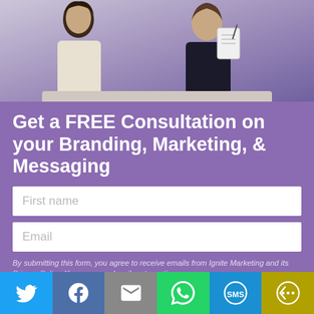[Figure (photo): Business people in a meeting, one person holding a clipboard/notebook, collaborative consultation scene]
Get a FREE Consultation on your Branding, Marketing, & Messaging
First name (form field placeholder)
Email (form field placeholder)
By submitting this form, you agree to receive emails from Ignite Marketing and its Privacy Policy. You may unsubscribe at any time.
[Figure (infographic): Social sharing bar with Twitter, Facebook, Email, WhatsApp, SMS, and More buttons]